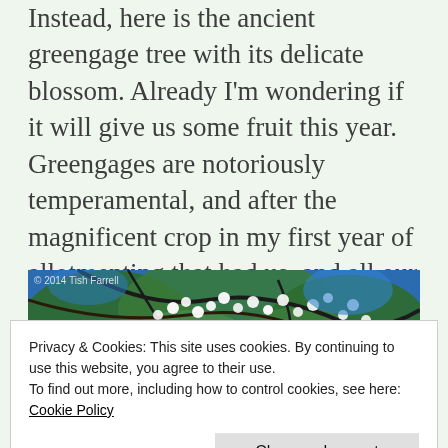Instead, here is the ancient greengage tree with its delicate blossom. Already I'm wondering if it will give us some fruit this year. Greengages are notoriously temperamental, and after the magnificent crop in my first year of allotmenting that had us, and all our friends and relations, dribbling with delight over bucket loads of luscious harvest, it has borne very little. That was seven years ago. Maybe this year is the year then.
[Figure (photo): A photo of a greengage tree branch with white blossoms and green leaves against a blue sky, with copyright text '© 2014 Tish Farrell' in top-left corner.]
Privacy & Cookies: This site uses cookies. By continuing to use this website, you agree to their use.
To find out more, including how to control cookies, see here: Cookie Policy
Close and accept
[Figure (photo): Bottom portion of another photo visible at the bottom of the page, showing green/blue tones.]